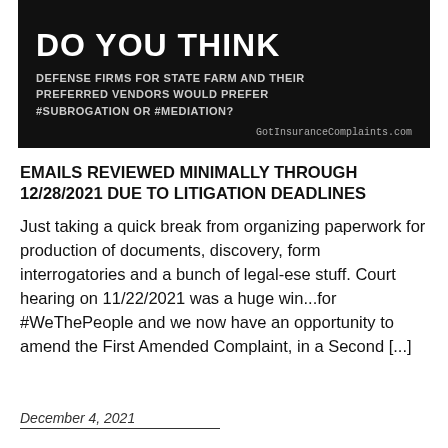[Figure (infographic): Black background image with bold white text reading 'DO YOU THINK' and subtext 'DEFENSE FIRMS FOR STATE FARM AND THEIR PREFERRED VENDORS WOULD PREFER #SUBROGATION OR #MEDIATION?' with 'GotInsuranceComplaints.com' in bottom right.]
EMAILS REVIEWED MINIMALLY THROUGH 12/28/2021 DUE TO LITIGATION DEADLINES
Just taking a quick break from organizing paperwork for production of documents, discovery, form interrogatories and a bunch of legal-ese stuff. Court hearing on 11/22/2021 was a huge win...for #WeThePeople and we now have an opportunity to amend the First Amended Complaint, in a Second [...]
December 4, 2021